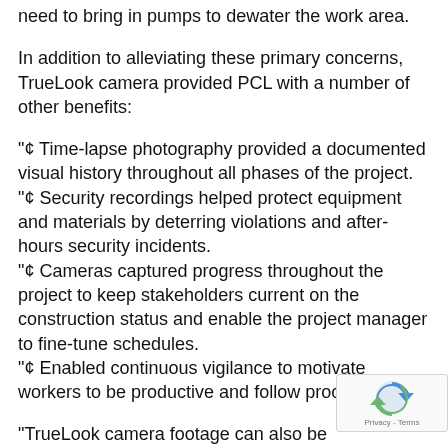need to bring in pumps to dewater the work area.
In addition to alleviating these primary concerns, TrueLook camera provided PCL with a number of other benefits:
"¢ Time-lapse photography provided a documented visual history throughout all phases of the project.
"¢ Security recordings helped protect equipment and materials by deterring violations and after-hours security incidents.
"¢ Cameras captured progress throughout the project to keep stakeholders current on the construction status and enable the project manager to fine-tune schedules.
"¢ Enabled continuous vigilance to motivate workers to be productive and follow procedures.
"TrueLook camera footage can also be used to help satisfy audit requirements from various regulatory agencies such as the Arizona Department of Water Quality, the Army